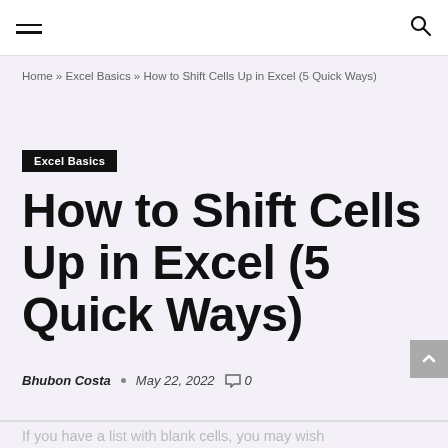Navigation bar with hamburger menu and search icon
Home » Excel Basics » How to Shift Cells Up in Excel (5 Quick Ways)
Excel Basics
How to Shift Cells Up in Excel (5 Quick Ways)
Bhubon Costa · May 22, 2022 💬 0
If you have a list with blank cells, you may wish to move all data up to eliminate the blank